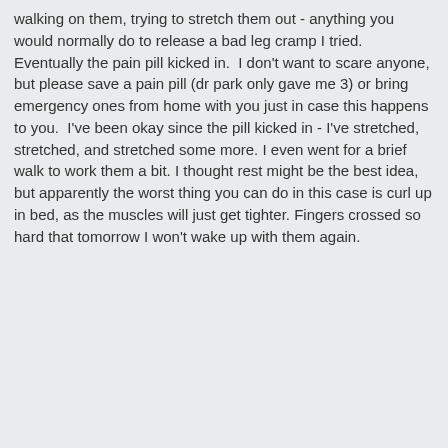walking on them, trying to stretch them out - anything you would normally do to release a bad leg cramp I tried. Eventually the pain pill kicked in.  I don't want to scare anyone, but please save a pain pill (dr park only gave me 3) or bring emergency ones from home with you just in case this happens to you.  I've been okay since the pill kicked in - I've stretched, stretched, and stretched some more. I even went for a brief walk to work them a bit. I thought rest might be the best idea, but apparently the worst thing you can do in this case is curl up in bed, as the muscles will just get tighter. Fingers crossed so hard that tomorrow I won't wake up with them again.
The following users say thank you to katie murphy for this useful post:
dnice
katie murphy  Posts: 29   Junior